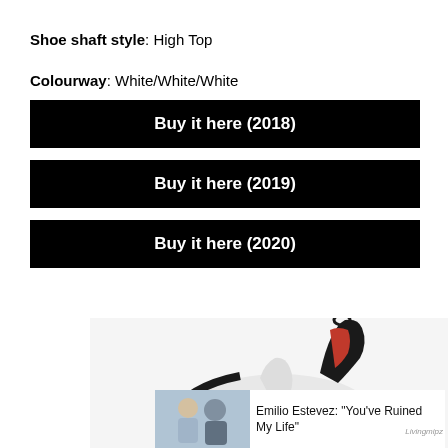Shoe shaft style: High Top
Colourway: White/White/White
Buy it here (2018)
Buy it here (2019)
Buy it here (2020)
[Figure (photo): Air Jordan sneaker, predominantly white with black sole and red accents, shown at an angle with the back tab visible, brand logo on sole]
[Figure (photo): Ad thumbnail showing two people (man and woman), with text: Emilio Estevez: "You've Ruined My Life" and Livingmipz branding]